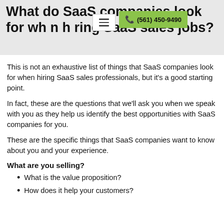What do SaaS companies look for when hiring SaaS sales jobs?
This is not an exhaustive list of things that SaaS companies look for when hiring SaaS sales professionals, but it's a good starting point.
In fact, these are the questions that we'll ask you when we speak with you as they help us identify the best opportunities with SaaS companies for you.
These are the specific things that SaaS companies want to know about you and your experience.
What are you selling?
What is the value proposition?
How does it help your customers?